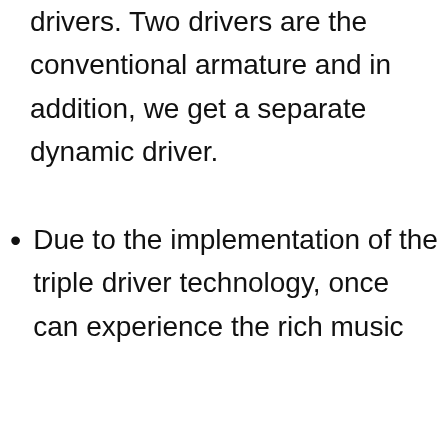drivers. Two drivers are the conventional armature and in addition, we get a separate dynamic driver.
Due to the implementation of the triple driver technology, once can experience the rich music
This website uses cookies to improve your experience. We'll assume you're ok with this, but you